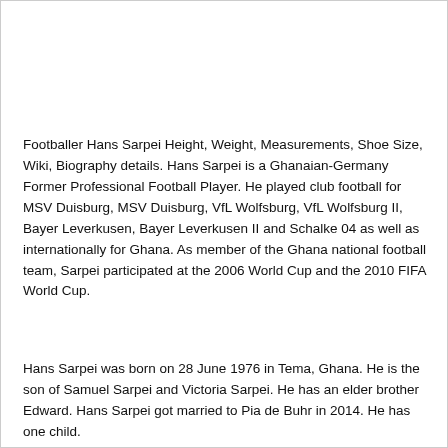Footballer Hans Sarpei Height, Weight, Measurements, Shoe Size, Wiki, Biography details. Hans Sarpei is a Ghanaian-Germany Former Professional Football Player. He played club football for MSV Duisburg, MSV Duisburg, VfL Wolfsburg, VfL Wolfsburg II, Bayer Leverkusen, Bayer Leverkusen II and Schalke 04 as well as internationally for Ghana. As member of the Ghana national football team, Sarpei participated at the 2006 World Cup and the 2010 FIFA World Cup.
Hans Sarpei was born on 28 June 1976 in Tema, Ghana. He is the son of Samuel Sarpei and Victoria Sarpei. He has an elder brother Edward. Hans Sarpei got married to Pia de Buhr in 2014. He has one child.